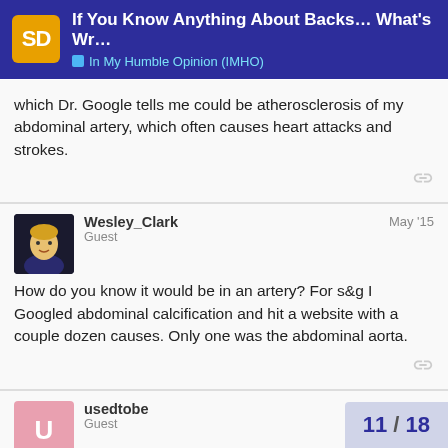If You Know Anything About Backs… What's Wr… — In My Humble Opinion (IMHO)
which Dr. Google tells me could be atherosclerosis of my abdominal artery, which often causes heart attacks and strokes.
Wesley_Clark
Guest
May '15
How do you know it would be in an artery? For s&g I Googled abdominal calcification and hit a website with a couple dozen causes. Only one was the abdominal aorta.
usedtobe
Guest
May '15
Have you seen the X-ray? Have you asked
11 / 18